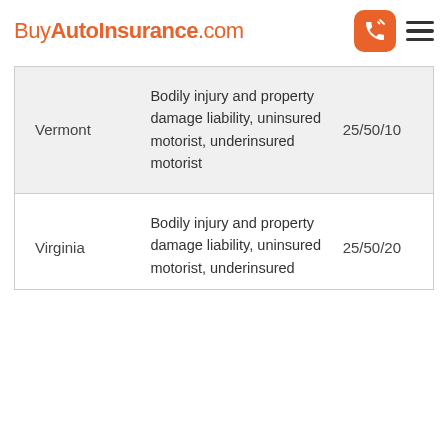BuyAutoInsurance.com
| State | Coverage Types | Minimum Limits |
| --- | --- | --- |
| Vermont | Bodily injury and property damage liability, uninsured motorist, underinsured motorist | 25/50/10 |
| Virginia | Bodily injury and property damage liability, uninsured motorist, underinsured motorist | 25/50/20 |